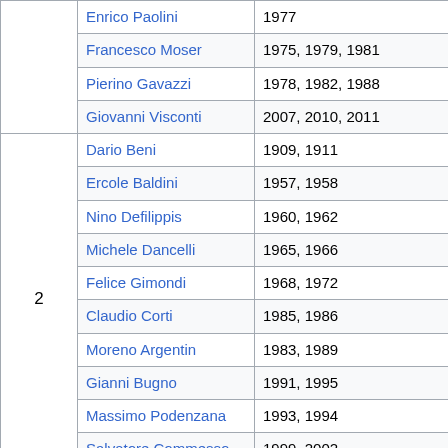| Wins | Rider | Years |
| --- | --- | --- |
|  | Enrico Paolini | 1977 |
|  | Francesco Moser | 1975, 1979, 1981 |
|  | Pierino Gavazzi | 1978, 1982, 1988 |
|  | Giovanni Visconti | 2007, 2010, 2011 |
| 2 | Dario Beni | 1909, 1911 |
| 2 | Ercole Baldini | 1957, 1958 |
| 2 | Nino Defilippis | 1960, 1962 |
| 2 | Michele Dancelli | 1965, 1966 |
| 2 | Felice Gimondi | 1968, 1972 |
| 2 | Claudio Corti | 1985, 1986 |
| 2 | Moreno Argentin | 1983, 1989 |
| 2 | Gianni Bugno | 1991, 1995 |
| 2 | Massimo Podenzana | 1993, 1994 |
| 2 | Salvatore Commesso | 1999, 2002 |